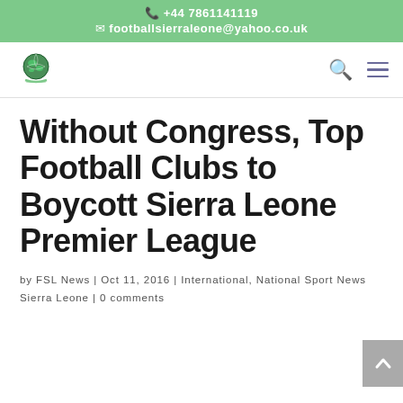+44 7861141119 footballsierraleone@yahoo.co.uk
[Figure (logo): Football Sierra Leone logo: a globe/football icon with text below]
Without Congress, Top Football Clubs to Boycott Sierra Leone Premier League
by FSL News | Oct 11, 2016 | International, National Sport News Sierra Leone | 0 comments